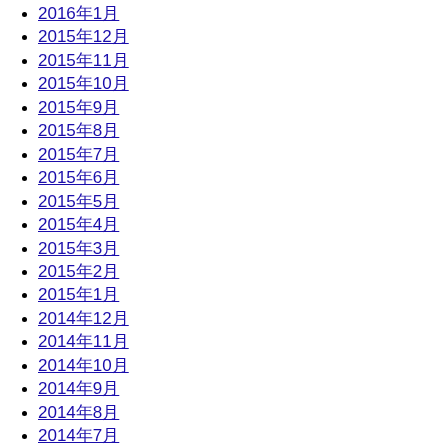2016年1月
2015年12月
2015年11月
2015年10月
2015年9月
2015年8月
2015年7月
2015年6月
2015年5月
2015年4月
2015年3月
2015年2月
2015年1月
2014年12月
2014年11月
2014年10月
2014年9月
2014年8月
2014年7月
2014年6月
2014年5月
2014年4月
2014年3月
2014年2月
2014年1月